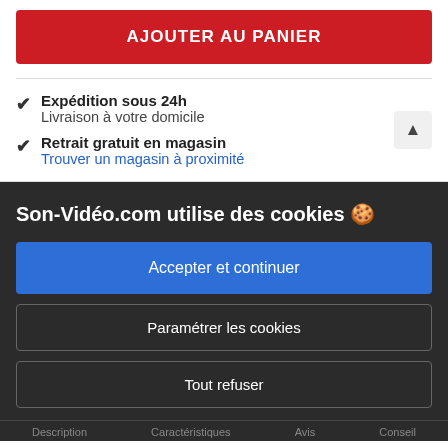AJOUTER AU PANIER
✔ Expédition sous 24h — Livraison à votre domicile
✔ Retrait gratuit en magasin — Trouver un magasin à proximité
Son-Vidéo.com utilise des cookies 🍪
Accepter et continuer
Paramétrer les cookies
Tout refuser
Description   Caractéristiques   Avis   Conseil